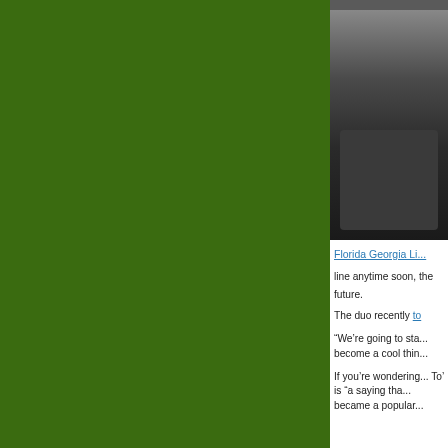[Figure (photo): Green background panel on left side of page]
[Figure (photo): Photo of a person wearing a dark t-shirt, seated, partially cropped on right side of page]
Florida Georgia Li...
line anytime soon, the future.
The duo recently to...
“We’re going to sta... become a cool thin...
If you’re wondering... To’ is “a saying tha... became a popular...